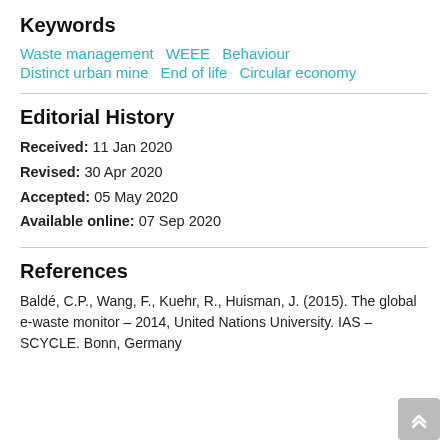Keywords
Waste management   WEEE   Behaviour
Distinct urban mine   End of life   Circular economy
Editorial History
Received: 11 Jan 2020
Revised: 30 Apr 2020
Accepted: 05 May 2020
Available online: 07 Sep 2020
References
Baldé, C.P., Wang, F., Kuehr, R., Huisman, J. (2015). The global e-waste monitor – 2014, United Nations University. IAS – SCYCLE. Bonn, Germany